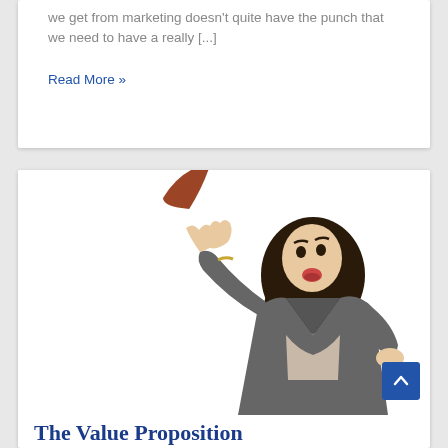we get from marketing doesn't quite have the punch that we need to have a really [...]
Read More »
[Figure (photo): Woman in grey jacket reacting to a boomerang flying toward her, arms raised defensively, mouth open, on a white background]
The Value Proposition